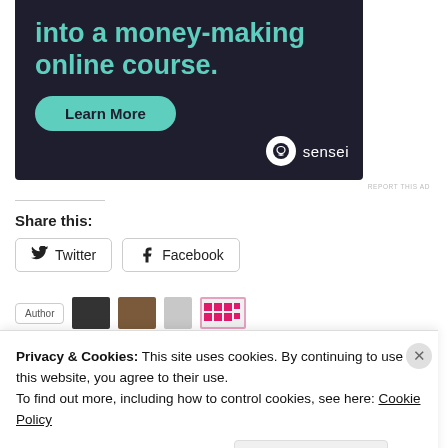[Figure (advertisement): Dark navy blue advertisement banner for Sensei showing text 'into a money-making online course.' with a teal 'Learn More' button and Sensei logo in lower right]
REPORT THIS AD
Share this:
Twitter
Facebook
Privacy & Cookies: This site uses cookies. By continuing to use this website, you agree to their use. To find out more, including how to control cookies, see here: Cookie Policy
Close and accept